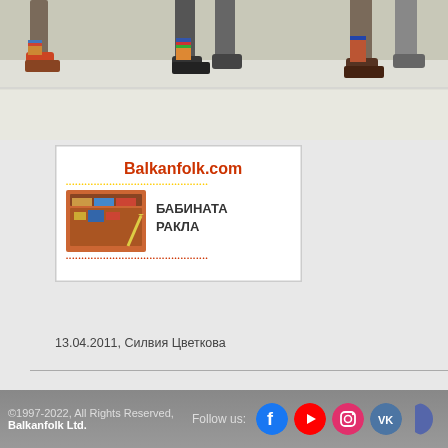[Figure (photo): Bottom portion of a photo showing dancers' feet and legs in colorful folk costumes on a light floor]
[Figure (logo): Balkanfolk.com advertisement banner - Бабината Ракла logo with decorative chest image]
13.04.2011, Силвия Цветкова
See more in Balkanfolk.com
Picture Galleries
Men's shirts with Bulgarian embroidery
Pernik Folk Dance Ensemble 30 years ago.
Dance ensemble "HEM" from Plovdiv 30 years ago.
more...
News
©1997-2022, All Rights Reserved, Balkanfolk Ltd.